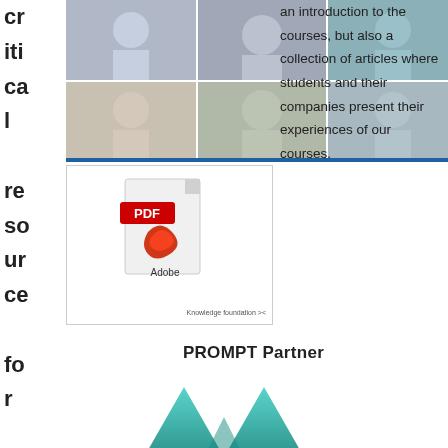critical resource for large
[Figure (photo): Photo collage grid of people working with laptops and in office settings]
[Figure (screenshot): PDF document icon with Adobe logo, and Knowledge Foundation logo]
an introduction to the courses, but also a collection of articles where students and their companies present their experiences of our courses.
[Figure (logo): PROMPT Partner - Mobile Heights logo with teal mountain shapes]
parts of Swedish private enterprise and an important source of innovation and competitiveness. In cooperation with academia and industry we are establishing a national education alternative with the